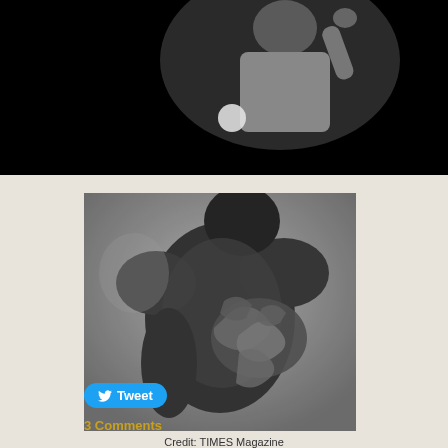[Figure (photo): Video screenshot of a person (upper body visible) against dark background, appearing to speak or perform]
[Figure (photo): Historical black and white photograph showing the scarred back of an enslaved person]
Credit: TIMES Magazine
[Figure (other): Twitter Tweet button (blue rounded button with bird icon and 'Tweet' text)]
3 Comments